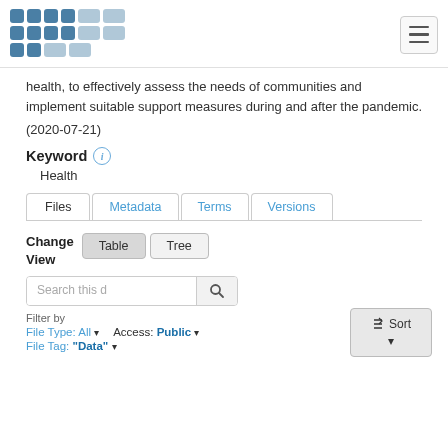abacus [logo] [hamburger menu]
health, to effectively assess the needs of communities and implement suitable support measures during and after the pandemic.
(2020-07-21)
Keyword
Health
Files | Metadata | Terms | Versions
Change View   Table   Tree
Search this d [search button]
Filter by
File Type: All ▾   Access: Public ▾
File Tag: "Data" ▾